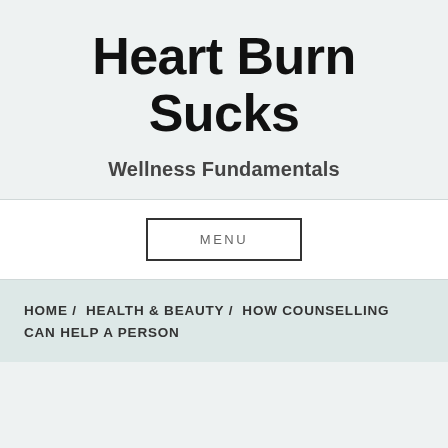Heart Burn Sucks
Wellness Fundamentals
MENU
HOME /  HEALTH & BEAUTY /  HOW COUNSELLING CAN HELP A PERSON
By Christian Mummery   March 26, 2020